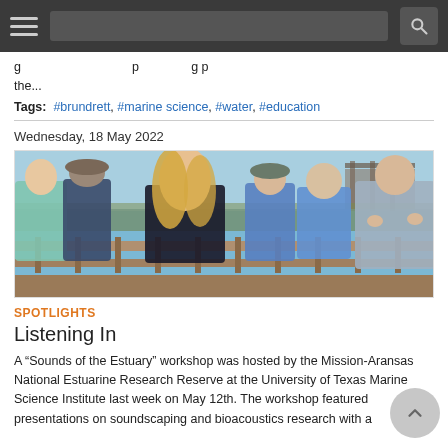Navigation bar with hamburger menu, search bar, and search icon
g... the...
Tags:  #brundrett, #marine science, #water, #education
Wednesday, 18 May 2022
[Figure (photo): Group of people standing on a wooden boardwalk/pier near a marsh estuary on a sunny day, with a woman in a grey cardigan appearing to speak or present to the group.]
SPOTLIGHTS
Listening In
A “Sounds of the Estuary” workshop was hosted by the Mission-Aransas National Estuarine Research Reserve at the University of Texas Marine Science Institute last week on May 12th. The workshop featured presentations on soundscaping and bioacoustics research with a